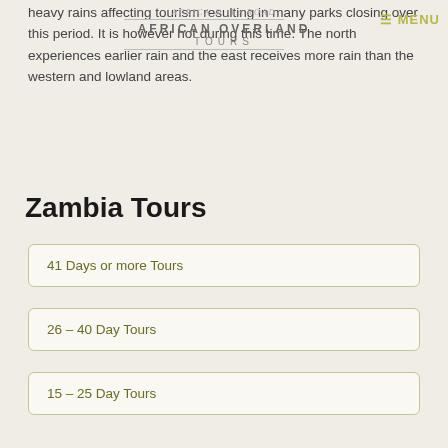Africa & the Road / AFRICAN OVERLAND TOURS / MENU
heavy rains affecting tourism resulting in many parks closing over this period. It is however hot during this time. The north experiences earlier rain and the east receives more rain than the western and lowland areas.
Zambia Tours
41 Days or more Tours
26 – 40 Day Tours
15 – 25 Day Tours
8 – 14 Day Tours
1 – 7 Day Tours